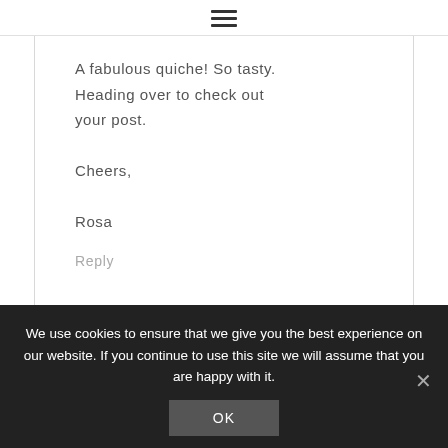☰
A fabulous quiche! So tasty. Heading over to check out your post.

Cheers,

Rosa
Reply
We use cookies to ensure that we give you the best experience on our website. If you continue to use this site we will assume that you are happy with it.
OK